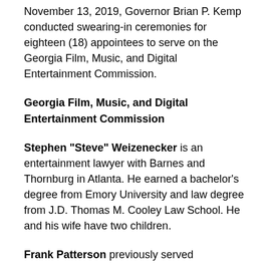November 13, 2019, Governor Brian P. Kemp conducted swearing-in ceremonies for eighteen (18) appointees to serve on the Georgia Film, Music, and Digital Entertainment Commission.
Georgia Film, Music, and Digital Entertainment Commission
Stephen "Steve" Weizenecker is an entertainment lawyer with Barnes and Thornburg in Atlanta. He earned a bachelor's degree from Emory University and law degree from J.D. Thomas M. Cooley Law School. He and his wife have two children.
Frank Patterson previously served